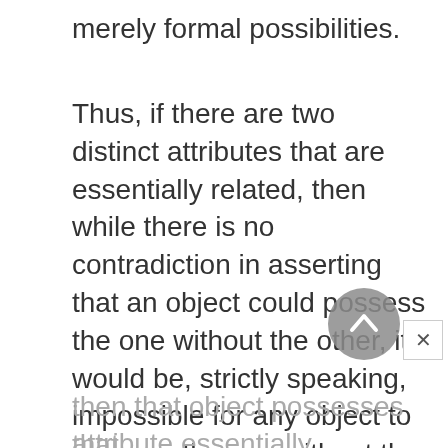merely formal possibilities.
Thus, if there are two distinct attributes that are essentially related, then while there is no contradiction in asserting that an object could possess the one without the other, it would be, strictly speaking, impossible for any object to possess the one without the other. There might be attributes such that if an object even possibly possesses it, then that object possesses that attribute essentially. Arguably, if